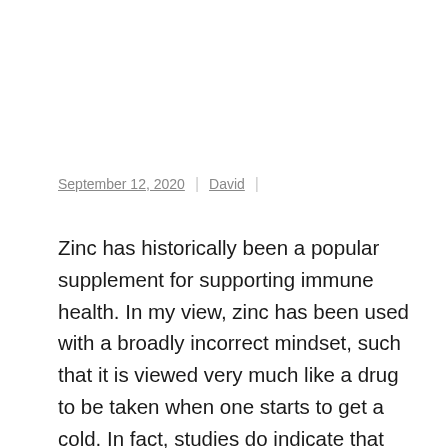September 12, 2020 | David |
Zinc has historically been a popular supplement for supporting immune health. In my view, zinc has been used with a broadly incorrect mindset, such that it is viewed very much like a drug to be taken when one starts to get a cold. In fact, studies do indicate that zinc supplementation should begin within 24 hours of the onset of […]